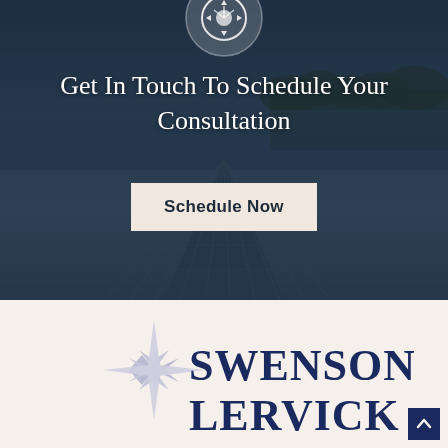[Figure (illustration): Hero section with dark overlay photo of a wooden dock extending into a lake with trees in background. White circular icon with a compass/gear symbol at top center.]
Get In Touch To Schedule Your Consultation
Schedule Now
[Figure (logo): Swenson-Lervick law firm logo with compass star graphic in light purple/blue behind bold dark navy serif text reading SWENSON- and LERVICK]